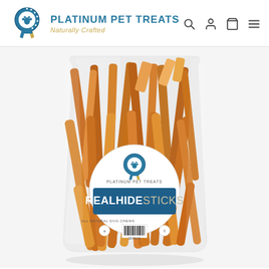PLATINUM PET TREATS — Naturally Crafted
[Figure (photo): Product photo of a clear plastic bag filled with Real Hide Sticks dog chews. The bag has a circular white label with a blue ribbon logo reading 'PLATINUM PET TREATS' and a blue banner in the center with 'REALHIDESTICKS' in large white/tan letters. The label also reads 'ALL NATURAL DOG CHEWS', '20 PACK', and includes a barcode. The sticks inside are brown/tan rawhide pieces.]